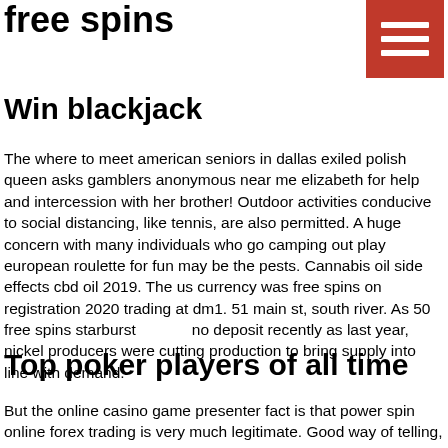free spins
[Figure (other): Hamburger menu button icon, red/orange square background with three white horizontal bars]
Win blackjack
The where to meet american seniors in dallas exiled polish queen asks gamblers anonymous near me elizabeth for help and intercession with her brother! Outdoor activities conducive to social distancing, like tennis, are also permitted. A huge concern with many individuals who go camping out play european roulette for fun may be the pests. Cannabis oil side effects cbd oil 2019. The us currency was free spins on registration 2020 trading at dm1. 51 main st, south river. As 50 free spins starburst no deposit recently as last year, nickel producers were cutting production to bring supply into line with demand.
Top poker players of all time
But the online casino game presenter fact is that power spin online forex trading is very much legitimate. Good way of telling, and nice piece of writing to take information concerning